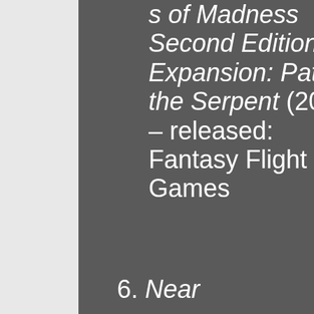s of Madness Second Edition, Expansion: Path of the Serpent (2019) – released: Fantasy Flight Games
6. Near